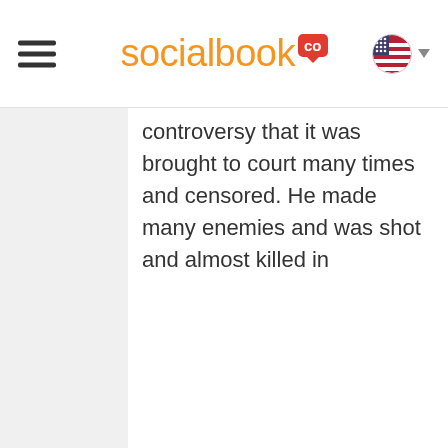socialbook co
controversy that it was brought to court many times and censored. He made many enemies and was shot and almost killed in